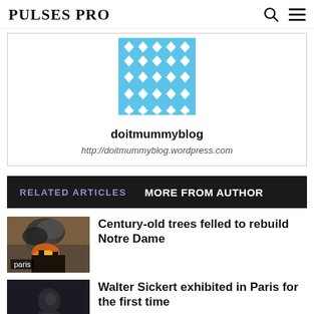PULSES PRO
[Figure (logo): Blue diamond-pattern avatar image for doitmummyblog]
doitmummyblog
http://doitmummyblog.wordpress.com
RELATED ARTICLES   MORE FROM AUTHOR
[Figure (photo): Photo of fire and smoke, Notre Dame related, with 'paris' tag overlay]
Century-old trees felled to rebuild Notre Dame
[Figure (photo): Dark photo, Walter Sickert article thumbnail]
Walter Sickert exhibited in Paris for the first time